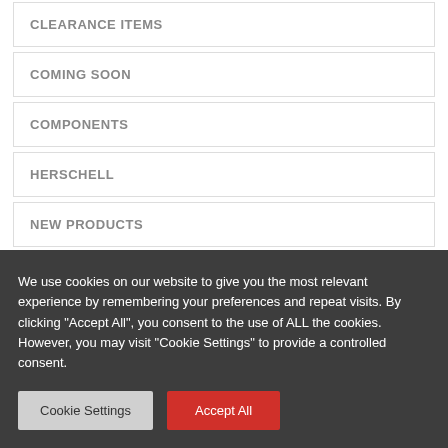CLEARANCE ITEMS
COMING SOON
COMPONENTS
HERSCHELL
NEW PRODUCTS
OUT OF STOCK
TRIATHLON
We use cookies on our website to give you the most relevant experience by remembering your preferences and repeat visits. By clicking "Accept All", you consent to the use of ALL the cookies. However, you may visit "Cookie Settings" to provide a controlled consent.
Cookie Settings
Accept All